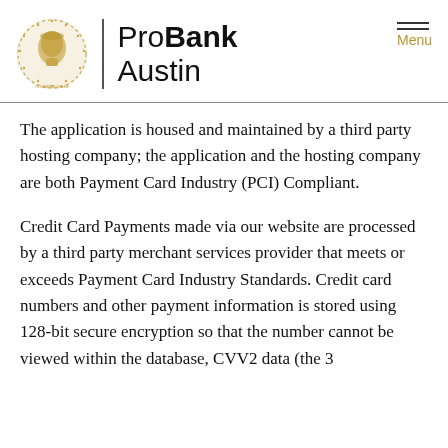ProBank Austin
The application is housed and maintained by a third party hosting company; the application and the hosting company are both Payment Card Industry (PCI) Compliant.
Credit Card Payments made via our website are processed by a third party merchant services provider that meets or exceeds Payment Card Industry Standards. Credit card numbers and other payment information is stored using 128-bit secure encryption so that the number cannot be viewed within the database, CVV2 data (the 3